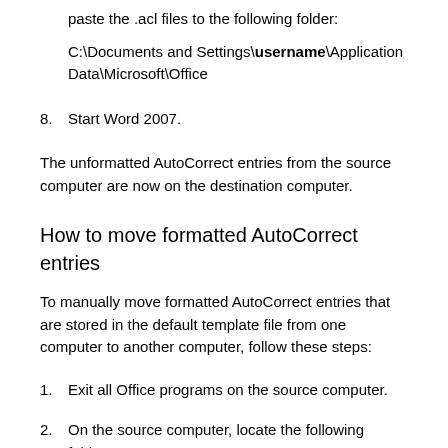paste the .acl files to the following folder:
C:\Documents and Settings\username\Application Data\Microsoft\Office
8.   Start Word 2007.
The unformatted AutoCorrect entries from the source computer are now on the destination computer.
How to move formatted AutoCorrect entries
To manually move formatted AutoCorrect entries that are stored in the default template file from one computer to another computer, follow these steps:
1.   Exit all Office programs on the source computer.
2.   On the source computer, locate the following folder:
C:\Documents and Settings\username\Application Data\Microsoft\Templates